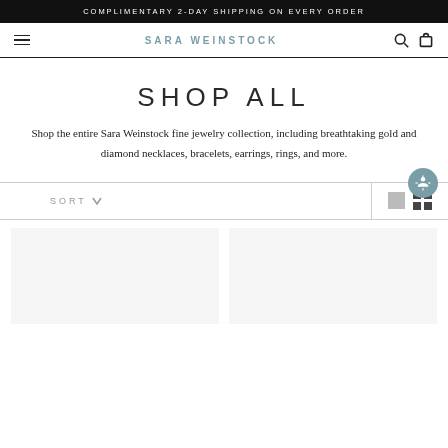COMPLIMENTARY 2-DAY SHIPPING ON EVERY ORDER
SARA WEINSTOCK
SHOP ALL
Shop the entire Sara Weinstock fine jewelry collection, including breathtaking gold and diamond necklaces, bracelets, earrings, rings, and more.
SORT
[Figure (screenshot): Two product image placeholder cards at the bottom of the page]